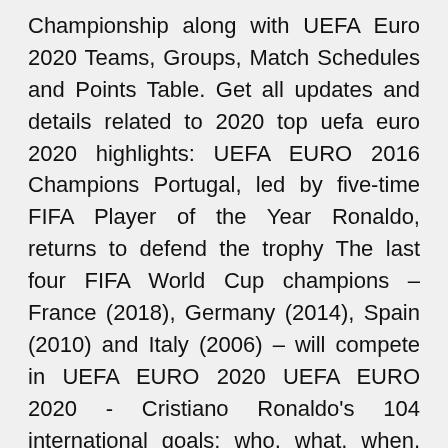Championship along with UEFA Euro 2020 Teams, Groups, Match Schedules and Points Table. Get all updates and details related to 2020 top uefa euro 2020 highlights: UEFA EURO 2016 Champions Portugal, led by five-time FIFA Player of the Year Ronaldo, returns to defend the trophy The last four FIFA World Cup champions – France (2018), Germany (2014), Spain (2010) and Italy (2006) – will compete in UEFA EURO 2020 UEFA EURO 2020 - Cristiano Ronaldo's 104 international goals: who, what, when, how - News (João Mário) 59. 22/06/16: EURO group stage D 3-3 vs Hungary (n), 50th minute – right foot (João Turkey vs Italy TV Coverage (Euro 2020 1st Match) UEFA Euro 2020 Opening Ceremony TV Channels Broadcasters (WorldWide) Hungary vs Rep of Ireland Warm-up Euro 2020 TV Channels; Portugal vs Israel Warm-up Euro